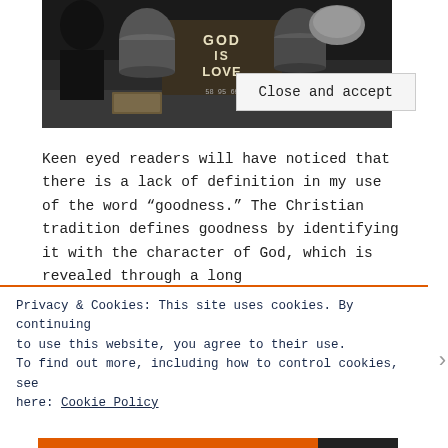[Figure (photo): Black and white photograph showing people with a sign reading 'GOD IS LOVE' along with barrels and boxes on the ground.]
Keen eyed readers will have noticed that there is a lack of definition in my use of the word “goodness.” The Christian tradition defines goodness by identifying it with the character of God, which is revealed through a long
Privacy & Cookies: This site uses cookies. By continuing to use this website, you agree to their use.
To find out more, including how to control cookies, see here: Cookie Policy
Close and accept